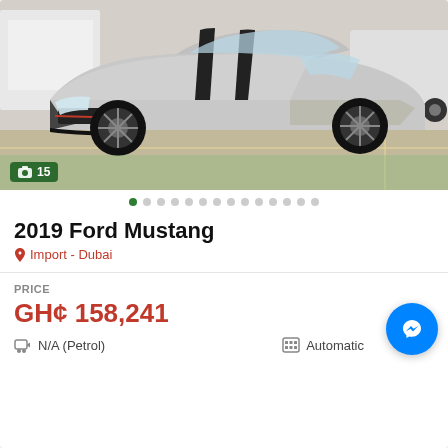[Figure (photo): Silver Ford Mustang Shelby with black racing stripes parked in a lot, front 3/4 view]
2019 Ford Mustang
Import - Dubai
PRICE
GH¢ 158,241
N/A (Petrol)
Automatic